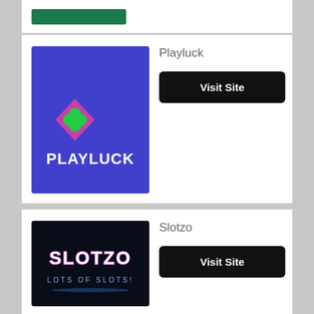[Figure (logo): Green button/logo at the top of the first card (partially visible)]
Playluck
[Figure (logo): Playluck casino logo: purple/blue background with shield icon and 'PLAYLUCK' text in white]
Visit Site
Slotzo
[Figure (logo): Slotzo casino logo: dark background with neon 'SLOTZO - LOTS OF SLOTS!' text]
Visit Site